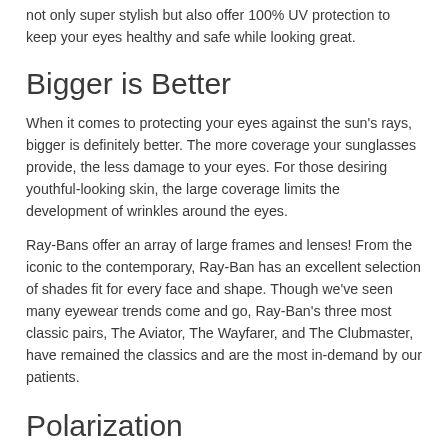not only super stylish but also offer 100% UV protection to keep your eyes healthy and safe while looking great.
Bigger is Better
When it comes to protecting your eyes against the sun's rays, bigger is definitely better. The more coverage your sunglasses provide, the less damage to your eyes. For those desiring youthful-looking skin, the large coverage limits the development of wrinkles around the eyes.
Ray-Bans offer an array of large frames and lenses! From the iconic to the contemporary, Ray-Ban has an excellent selection of shades fit for every face and shape. Though we've seen many eyewear trends come and go, Ray-Ban's three most classic pairs, The Aviator, The Wayfarer, and The Clubmaster, have remained the classics and are the most in-demand by our patients.
Polarization
Polarization reduces glare coming off reflective surfaces like the snow, water, or pavement. With polarized lenses, you...